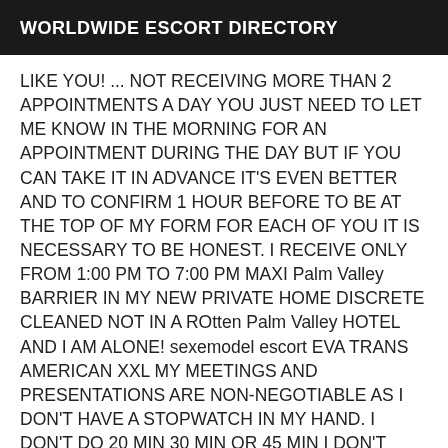WORLDWIDE ESCORT DIRECTORY
LIKE YOU! ... NOT RECEIVING MORE THAN 2 APPOINTMENTS A DAY YOU JUST NEED TO LET ME KNOW IN THE MORNING FOR AN APPOINTMENT DURING THE DAY BUT IF YOU CAN TAKE IT IN ADVANCE IT'S EVEN BETTER AND TO CONFIRM 1 HOUR BEFORE TO BE AT THE TOP OF MY FORM FOR EACH OF YOU IT IS NECESSARY TO BE HONEST. I RECEIVE ONLY FROM 1:00 PM TO 7:00 PM MAXI Palm Valley BARRIER IN MY NEW PRIVATE HOME DISCRETE CLEANED NOT IN A ROtten Palm Valley HOTEL AND I AM ALONE! sexemodel escort EVA TRANS AMERICAN XXL MY MEETINGS AND PRESENTATIONS ARE NON-NEGOTIABLE AS I DON'T HAVE A STOPWATCH IN MY HAND. I DON'T DO 20 MIN 30 MIN OR 45 MIN I DON'T CONCEIVE THAT ■■ 1 H > 150 roses ■■ DOMINATION SOFT OR HARD(1H) 150 /300 roses ■■ APÉRO CHAMPAGNE